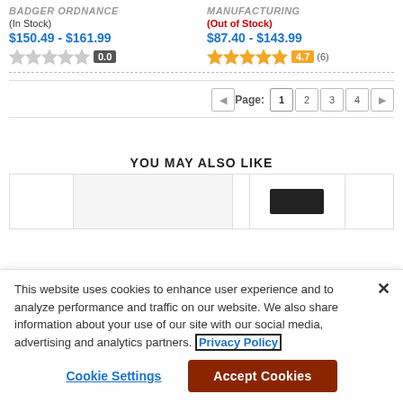BADGER ORDNANCE
(In Stock)
$150.49 - $161.99
0.0
MANUFACTURING
(Out of Stock)
$87.40 - $143.99
4.7 (6)
Page: 1 2 3 4
YOU MAY ALSO LIKE
[Figure (screenshot): Product shelf showing two product image placeholders, one blank and one showing a dark colored product (appears to be a rifle accessory)]
This website uses cookies to enhance user experience and to analyze performance and traffic on our website. We also share information about your use of our site with our social media, advertising and analytics partners. Privacy Policy
Cookie Settings | Accept Cookies